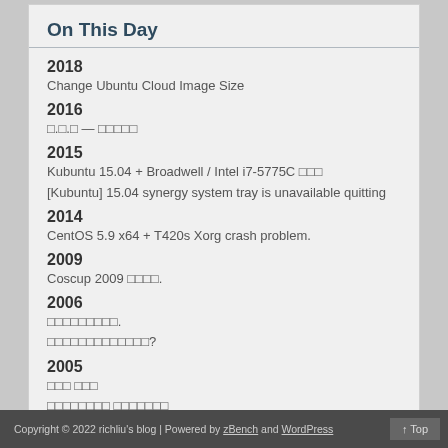On This Day
2018
Change Ubuntu Cloud Image Size
2016
□.□.□ — □□□□□
2015
Kubuntu 15.04 + Broadwell / Intel i7-5775C □□□
[Kubuntu] 15.04 synergy system tray is unavailable quitting
2014
CentOS 5.9 x64 + T420s Xorg crash problem.
2009
Coscup 2009 □□□□.
2006
□□□□□□□□□.
□□□□□□□□□□□□□?
2005
□□□ □□□
□□□□□□□□ □□□□□□□
Copyright © 2022 richliu's blog | Powered by zBench and WordPress